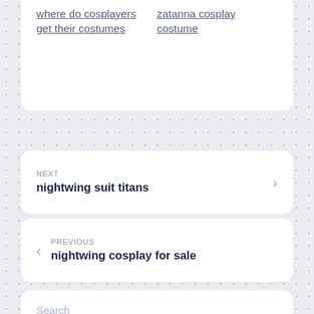where do cosplayers get their costumes
zatanna cosplay costume
NEXT
nightwing suit titans
PREVIOUS
nightwing cosplay for sale
Search